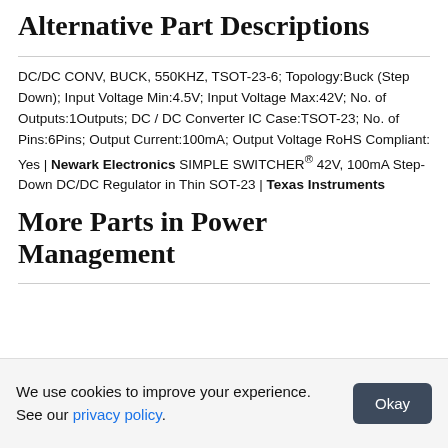Alternative Part Descriptions
DC/DC CONV, BUCK, 550KHZ, TSOT-23-6; Topology:Buck (Step Down); Input Voltage Min:4.5V; Input Voltage Max:42V; No. of Outputs:1Outputs; DC / DC Converter IC Case:TSOT-23; No. of Pins:6Pins; Output Current:100mA; Output Voltage RoHS Compliant: Yes | Newark Electronics SIMPLE SWITCHER® 42V, 100mA Step-Down DC/DC Regulator in Thin SOT-23 | Texas Instruments
More Parts in Power Management
We use cookies to improve your experience. See our privacy policy.